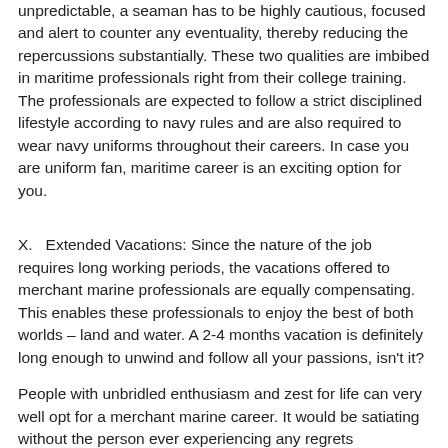unpredictable, a seaman has to be highly cautious, focused and alert to counter any eventuality, thereby reducing the repercussions substantially. These two qualities are imbibed in maritime professionals right from their college training. The professionals are expected to follow a strict disciplined lifestyle according to navy rules and are also required to wear navy uniforms throughout their careers. In case you are uniform fan, maritime career is an exciting option for you.
X.   Extended Vacations: Since the nature of the job requires long working periods, the vacations offered to merchant marine professionals are equally compensating. This enables these professionals to enjoy the best of both worlds – land and water. A 2-4 months vacation is definitely long enough to unwind and follow all your passions, isn't it?
People with unbridled enthusiasm and zest for life can very well opt for a merchant marine career. It would be satiating without the person ever experiencing any regrets whatsoever in his profession of choice.